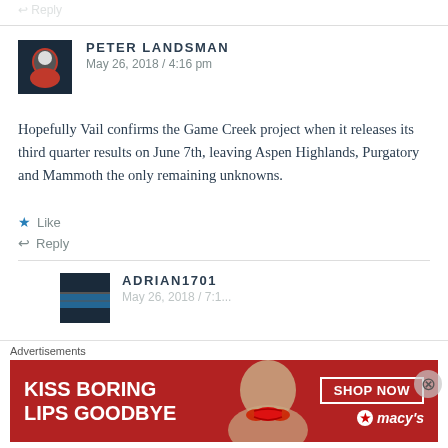Reply
PETER LANDSMAN
May 26, 2018 / 4:16 pm
Hopefully Vail confirms the Game Creek project when it releases its third quarter results on June 7th, leaving Aspen Highlands, Purgatory and Mammoth the only remaining unknowns.
Like
Reply
ADRIAN1701
Advertisements
KISS BORING LIPS GOODBYE  SHOP NOW  macys